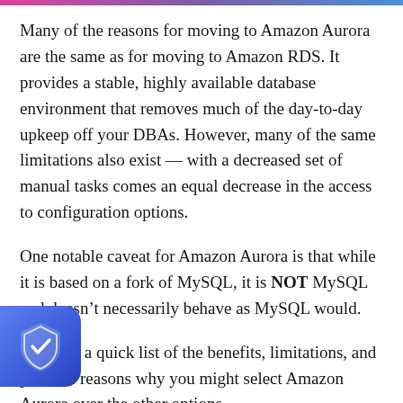Many of the reasons for moving to Amazon Aurora are the same as for moving to Amazon RDS. It provides a stable, highly available database environment that removes much of the day-to-day upkeep off your DBAs. However, many of the same limitations also exist — with a decreased set of manual tasks comes an equal decrease in the access to configuration options.
One notable caveat for Amazon Aurora is that while it is based on a fork of MySQL, it is NOT MySQL and doesn't necessarily behave as MySQL would.
Below is a quick list of the benefits, limitations, and possible reasons why you might select Amazon Aurora over the other options.